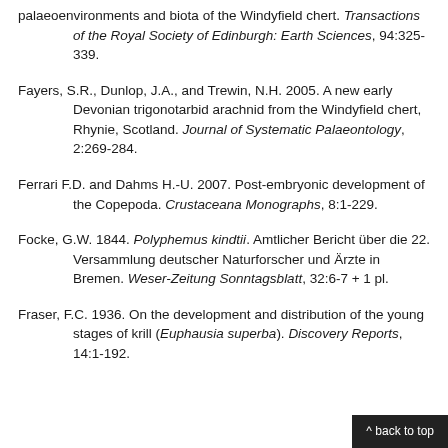palaeoenvironments and biota of the Windyfield chert. Transactions of the Royal Society of Edinburgh: Earth Sciences, 94:325-339.
Fayers, S.R., Dunlop, J.A., and Trewin, N.H. 2005. A new early Devonian trigonotarbid arachnid from the Windyfield chert, Rhynie, Scotland. Journal of Systematic Palaeontology, 2:269-284.
Ferrari F.D. and Dahms H.-U. 2007. Post-embryonic development of the Copepoda. Crustaceana Monographs, 8:1-229.
Focke, G.W. 1844. Polyphemus kindtii. Amtlicher Bericht über die 22. Versammlung deutscher Naturforscher und Ärzte in Bremen. Weser-Zeitung Sonntagsblatt, 32:6-7 + 1 pl.
Fraser, F.C. 1936. On the development and distribution of the young stages of krill (Euphausia superba). Discovery Reports, 14:1-192.
^ back to top